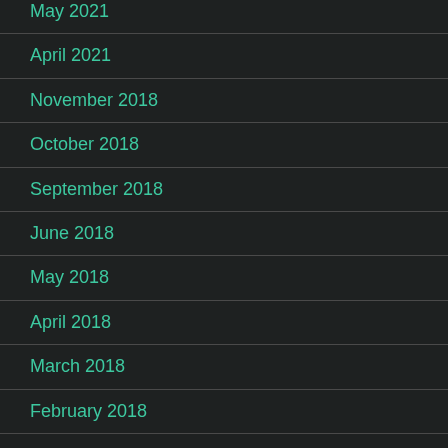May 2021
April 2021
November 2018
October 2018
September 2018
June 2018
May 2018
April 2018
March 2018
February 2018
January 2018